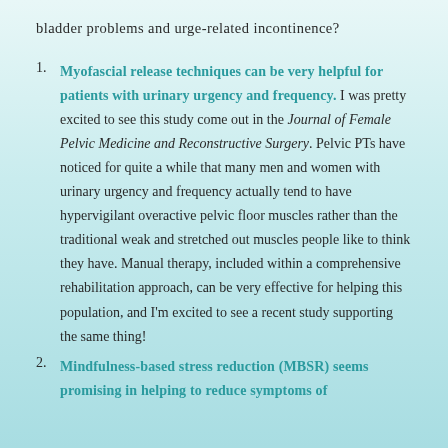bladder problems and urge-related incontinence?
Myofascial release techniques can be very helpful for patients with urinary urgency and frequency. I was pretty excited to see this study come out in the Journal of Female Pelvic Medicine and Reconstructive Surgery. Pelvic PTs have noticed for quite a while that many men and women with urinary urgency and frequency actually tend to have hypervigilant overactive pelvic floor muscles rather than the traditional weak and stretched out muscles people like to think they have. Manual therapy, included within a comprehensive rehabilitation approach, can be very effective for helping this population, and I'm excited to see a recent study supporting the same thing!
Mindfulness-based stress reduction (MBSR) seems promising in helping to reduce symptoms of overactive bladder and urge-related incontinence.